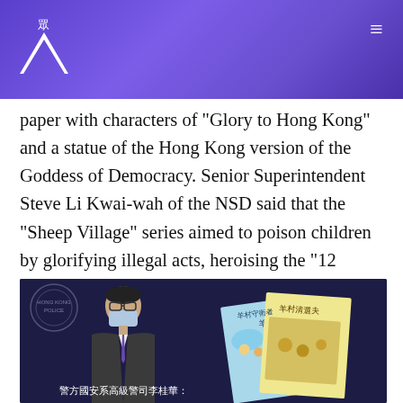人眾 (logo) ☰
paper with characters of "Glory to Hong Kong" and a statue of the Hong Kong version of the Goddess of Democracy. Senior Superintendent Steve Li Kwai-wah of the NSD said that the "Sheep Village" series aimed to poison children by glorifying illegal acts, heroising the "12 fugitives" and rationalising health care strikes through children's cartoons. From a legal point of view, he said it was an attempt to arouse hatred of the government and the justice system, incite violence and cause lawlessness.
[Figure (photo): Screenshot of a press conference showing a man in a suit and mask (Senior Superintendent Steve Li Kwai-wah) with children's books displayed on the right side. Caption in Chinese reads: 警方國安系高級警司李桂華：]